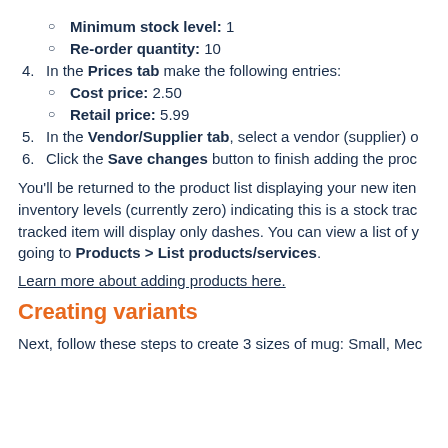Minimum stock level: 1
Re-order quantity: 10
4. In the Prices tab make the following entries:
Cost price: 2.50
Retail price: 5.99
5. In the Vendor/Supplier tab, select a vendor (supplier) o
6. Click the Save changes button to finish adding the proc
You'll be returned to the product list displaying your new item. inventory levels (currently zero) indicating this is a stock trac tracked item will display only dashes. You can view a list of y going to Products > List products/services.
Learn more about adding products here.
Creating variants
Next, follow these steps to create 3 sizes of mug: Small, Mec